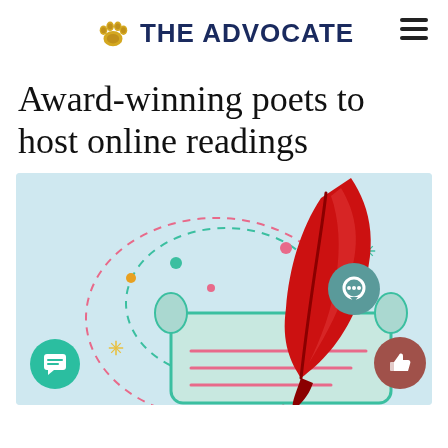THE ADVOCATE
Award-winning poets to host online readings
[Figure (illustration): Illustration of a red quill feather pen resting on a scroll/parchment with decorative dashed circle lines, colorful dots and star/sparkle shapes on a light blue background. Floating UI buttons: teal chat icon bottom-left, teal speech bubble icon right-center, rose thumbs-up icon bottom-right.]